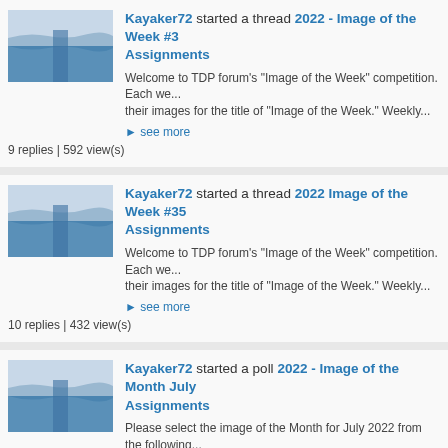Kayaker72 started a thread 2022 - Image of the Week #3 Assignments
Welcome to TDP forum's "Image of the Week" competition. Each we... their images for the title of "Image of the Week." Weekly...
▶ see more
9 replies | 592 view(s)
Kayaker72 started a thread 2022 Image of the Week #35 Assignments
Welcome to TDP forum's "Image of the Week" competition. Each we... their images for the title of "Image of the Week." Weekly...
▶ see more
10 replies | 432 view(s)
Kayaker72 started a poll 2022 - Image of the Month July Assignments
Please select the image of the Month for July 2022 from the following... Eade "Male Summer Tanager" Week 28: ...
▶ see more
4 replies | 652 view(s)